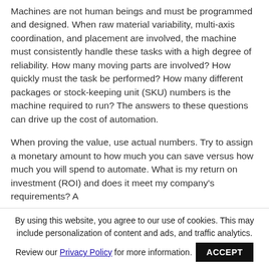Machines are not human beings and must be programmed and designed. When raw material variability, multi-axis coordination, and placement are involved, the machine must consistently handle these tasks with a high degree of reliability. How many moving parts are involved? How quickly must the task be performed? How many different packages or stock-keeping unit (SKU) numbers is the machine required to run? The answers to these questions can drive up the cost of automation.

When proving the value, use actual numbers. Try to assign a monetary amount to how much you can save versus how much you will spend to automate. What is my return on investment (ROI) and does it meet my company's requirements? A
By using this website, you agree to our use of cookies. This may include personalization of content and ads, and traffic analytics.
Review our Privacy Policy for more information.